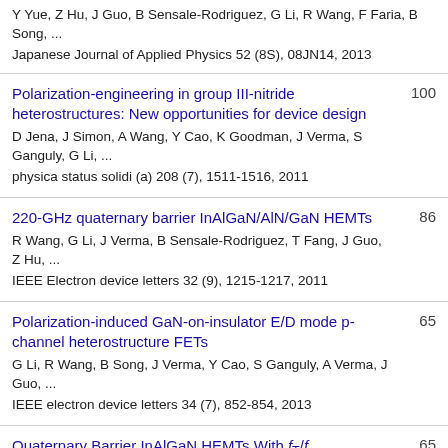Y Yue, Z Hu, J Guo, B Sensale-Rodriguez, G Li, R Wang, F Faria, B Song, ...
Japanese Journal of Applied Physics 52 (8S), 08JN14, 2013
Polarization-engineering in group III-nitride heterostructures: New opportunities for device design
D Jena, J Simon, A Wang, Y Cao, K Goodman, J Verma, S Ganguly, G Li, ...
physica status solidi (a) 208 (7), 1511-1516, 2011
100
220-GHz quaternary barrier InAlGaN/AlN/GaN HEMTs
R Wang, G Li, J Verma, B Sensale-Rodriguez, T Fang, J Guo, Z Hu, ...
IEEE Electron device letters 32 (9), 1215-1217, 2011
86
Polarization-induced GaN-on-insulator E/D mode p-channel heterostructure FETs
G Li, R Wang, B Song, J Verma, Y Cao, S Ganguly, A Verma, J Guo, ...
IEEE electron device letters 34 (7), 852-854, 2013
65
Quaternary Barrier InAlGaN HEMTs With fT/fmax
65